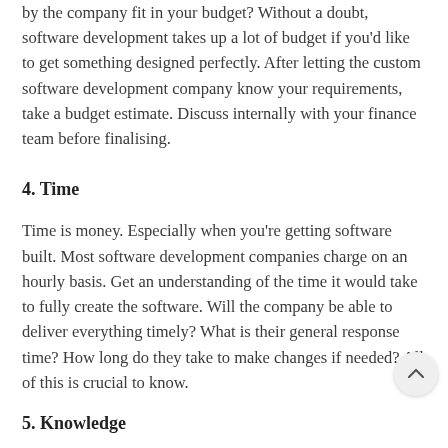Do the custom software development services provided by the company fit in your budget? Without a doubt, software development takes up a lot of budget if you'd like to get something designed perfectly. After letting the custom software development company know your requirements, take a budget estimate. Discuss internally with your finance team before finalising.
4. Time
Time is money. Especially when you're getting software built. Most software development companies charge on an hourly basis. Get an understanding of the time it would take to fully create the software. Will the company be able to deliver everything timely? What is their general response time? How long do they take to make changes if needed? All of this is crucial to know.
5. Knowledge